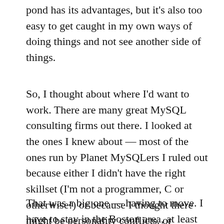pond has its advantages, but it's also too easy to get caught in my own ways of doing things and not see another side of things.
So, I thought about where I'd want to work. There are many great MySQL consulting firms out there. I looked at the ones I knew about — most of the ones run by Planet MySQLers I ruled out because either I didn't have the right skillset (I'm not a programmer, C or otherwise!) or because I thought there might be personality conflicts, or because I'd have to move.
That was a big one — having to move. I have to stay in the Boston area, at least for now. My